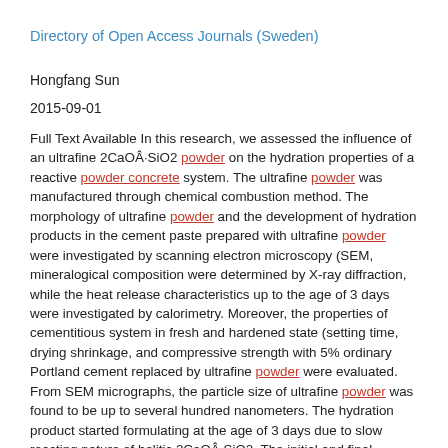Directory of Open Access Journals (Sweden)
Hongfang Sun
2015-09-01
Full Text Available In this research, we assessed the influence of an ultrafine 2CaOÂ·SiO2 powder on the hydration properties of a reactive powder concrete system. The ultrafine powder was manufactured through chemical combustion method. The morphology of ultrafine powder and the development of hydration products in the cement paste prepared with ultrafine powder were investigated by scanning electron microscopy (SEM, mineralogical composition were determined by X-ray diffraction, while the heat release characteristics up to the age of 3 days were investigated by calorimetry. Moreover, the properties of cementitious system in fresh and hardened state (setting time, drying shrinkage, and compressive strength with 5% ordinary Portland cement replaced by ultrafine powder were evaluated. From SEM micrographs, the particle size of ultrafine powder was found to be up to several hundred nanometers. The hydration product started formulating at the age of 3 days due to slow reacting nature of belitic 2CaOÂ·SiO2. The initial and final